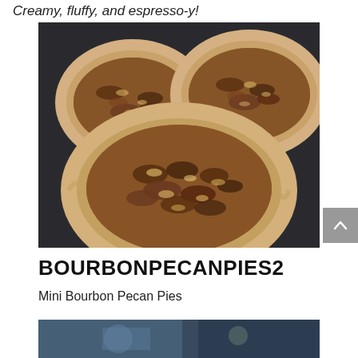Creamy, fluffy, and espresso-y!
[Figure (photo): Three mini bourbon pecan pies in fluted pastry shells, filled with a glossy pecan and caramel topping, arranged closely together on a dark surface.]
BOURBONPECANPIES2
Mini Bourbon Pecan Pies
[Figure (photo): Partial view of another food photo at the bottom of the page, cut off.]